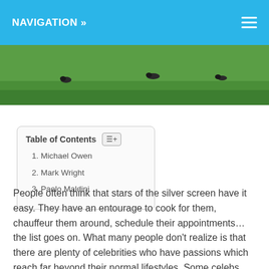NAVIGATION »
[Figure (photo): Outdoor field with green grass and dark birds visible in the distance]
Table of Contents
1. Michael Owen
2. Mark Wright
3. Paolo Maldini
People often think that stars of the silver screen have it easy. They have an entourage to cook for them, chauffeur them around, schedule their appointments… the list goes on. What many people don't realize is that there are plenty of celebrities who have passions which reach far beyond their normal lifestyles. Some celebs